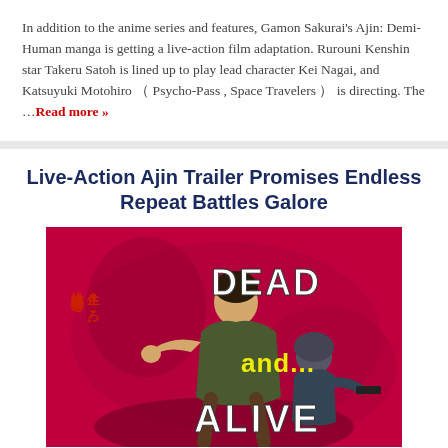In addition to the anime series and features, Gamon Sakurai's Ajin: Demi-Human manga is getting a live-action film adaptation. Rurouni Kenshin star Takeru Satoh is lined up to play lead character Kei Nagai, and Katsuyuki Motohiro （ Psycho-Pass , Space Travelers ） is directing. The …Read more »
Live-Action Ajin Trailer Promises Endless Repeat Battles Galore
[Figure (photo): Movie poster for Ajin live-action film showing two characters on a pink/magenta background with Japanese text and the words DEAD and... ALIVE]
© JUNE 26, 2017   MATT SCHLEY